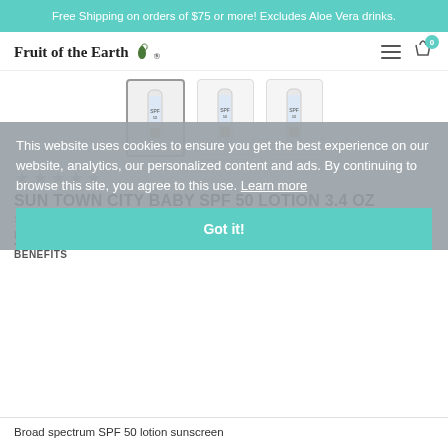Free Shipping on orders of $75 or more! Excludes Aloe Vera drinks.
[Figure (logo): Fruit of the Earth logo with leaf icon]
[Figure (photo): Three product thumbnail images of Sun Town City Baby SPF 50 Lotion 3.4 oz bottles]
★★★★★
SUN TOWN CITY BABY SPF 50 LOTION 3.4 OZ
SKU: 83643
DESCRIPTION   INGREDIENTS
BENEFITS
This website uses cookies to ensure you get the best experience on our website, analytics, our personalized content and ads. By continuing to browse this site, you agree to this use. Learn more
Got it!
Broad spectrum SPF 50 lotion sunscreen